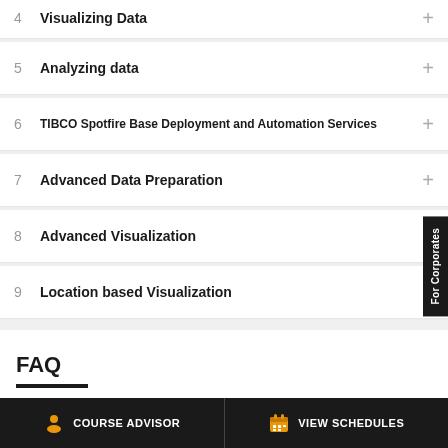4  Visualizing Data
5  Analyzing data
6  TIBCO Spotfire Base Deployment and Automation Services
7  Advanced Data Preparation
8  Advanced Visualization
9  Location based Visualization
FAQ
COURSE ADVISOR
VIEW SCHEDULES